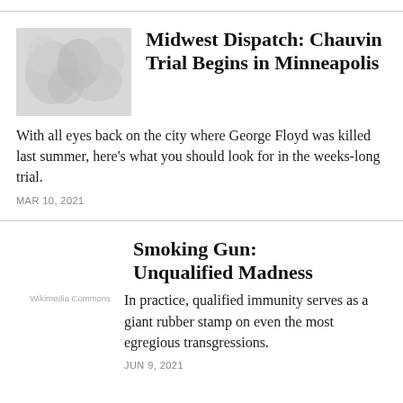[Figure (photo): Grayscale thumbnail image with abstract floral or crowd-like pattern]
Midwest Dispatch: Chauvin Trial Begins in Minneapolis
With all eyes back on the city where George Floyd was killed last summer, here's what you should look for in the weeks-long trial.
MAR 10, 2021
Smoking Gun: Unqualified Madness
Wikimedia Commons
In practice, qualified immunity serves as a giant rubber stamp on even the most egregious transgressions.
JUN 9, 2021